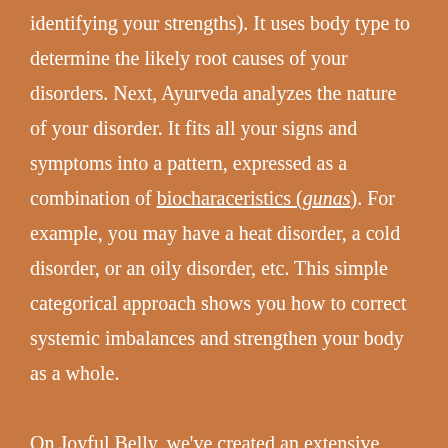identifying your strengths). It uses body type to determine the likely root causes of your disorders. Next, Ayurveda analyzes the nature of your disorder. It fits all your signs and symptoms into a pattern, expressed as a combination of biocharaceristics (gunas). For example, you may have a heat disorder, a cold disorder, or an oily disorder, etc. This simple categorical approach shows you how to correct systemic imbalances and strengthen your body as a whole.

On Joyful Belly, we've created an extensive categorization of food so you can easily match food to your imbalanced biocharacteristics. By eating an optimal diet that balances your biocharacteristics, your whole body is strengthened and